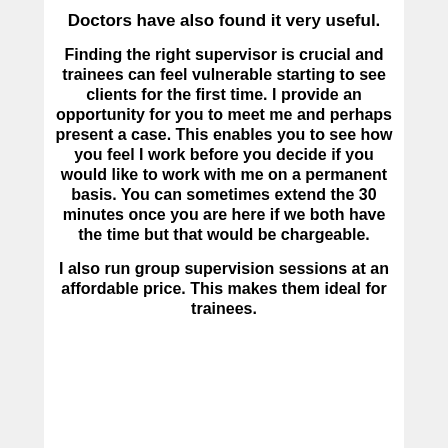Doctors have also found it very useful.
Finding the right supervisor is crucial and trainees can feel vulnerable starting to see clients for the first time. I provide an opportunity for you to meet me and perhaps present a case. This enables you to see how you feel I work before you decide if you would like to work with me on a permanent basis. You can sometimes extend the 30 minutes once you are here if we both have the time but that would be chargeable.
I also run group supervision sessions at an affordable price. This makes them ideal for trainees.